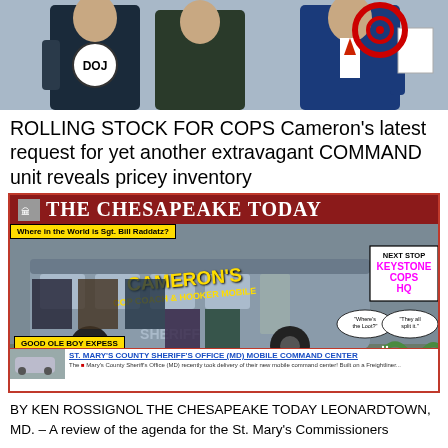[Figure (photo): Two figures in suits with DOJ logo badge and a red target symbol]
ROLLING STOCK FOR COPS Cameron's latest request for yet another extravagant COMMAND unit reveals pricey inventory
[Figure (illustration): The Chesapeake Today newspaper screenshot featuring 'Cameron's Cop Coach & Hooker Mobile' satirical bus illustration with 'Good Ole Boy Express' banner and St. Mary's County Sheriff's Office mobile command center inset]
BY KEN ROSSIGNOL THE CHESAPEAKE TODAY LEONARDTOWN, MD. – A review of the agenda for the St. Mary's Commissioners